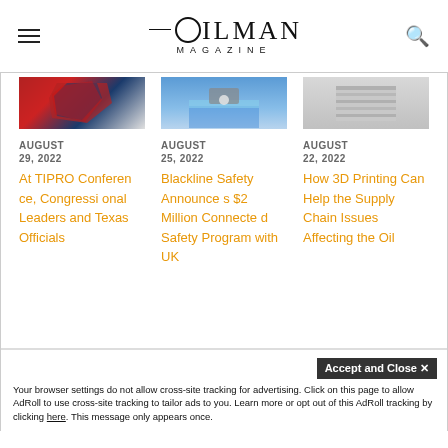OILMAN MAGAZINE
[Figure (photo): Texas state outline with red, white and blue colors]
[Figure (photo): Person near water or boat, outdoor scene]
[Figure (photo): Gray industrial or printing surface]
AUGUST 29, 2022
AUGUST 25, 2022
AUGUST 22, 2022
At TIPRO Conference, Congressional Leaders and Texas Officials
Blackline Safety Announces $2 Million Connected Safety Program with UK
How 3D Printing Can Help the Supply Chain Issues Affecting the Oil
Your browser settings do not allow cross-site tracking for advertising. Click on this page to allow AdRoll to use cross-site tracking to tailor ads to you. Learn more or opt out of this AdRoll tracking by clicking here. This message only appears once.